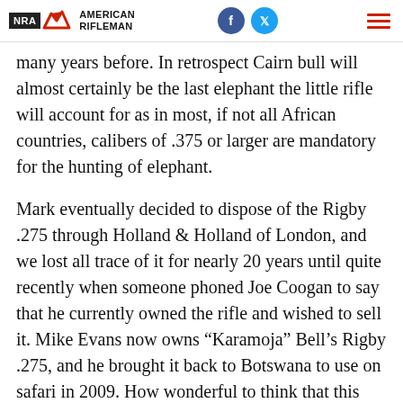NRA American Rifleman
many years before. In retrospect Cairn bull will almost certainly be the last elephant the little rifle will account for as in most, if not all African countries, calibers of .375 or larger are mandatory for the hunting of elephant.
Mark eventually decided to dispose of the Rigby .275 through Holland & Holland of London, and we lost all trace of it for nearly 20 years until quite recently when someone phoned Joe Coogan to say that he currently owned the rifle and wished to sell it. Mike Evans now owns “Karamoja” Bell’s Rigby .275, and he brought it back to Botswana to use on safari in 2009. How wonderful to think that this unique little rifle returned to Africa yet again, and that its voice